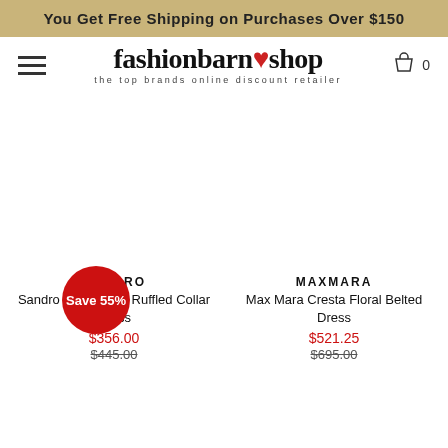You Get Free Shipping on Purchases Over $150
[Figure (logo): fashionbarn shop logo with tagline 'the top brands online discount retailer']
SANDRO
Sandro Taly Tweed Ruffled Collar Dress
$356.00
$445.00
MAXMARA
Max Mara Cresta Floral Belted Dress
$521.25
$695.00
Save 55%